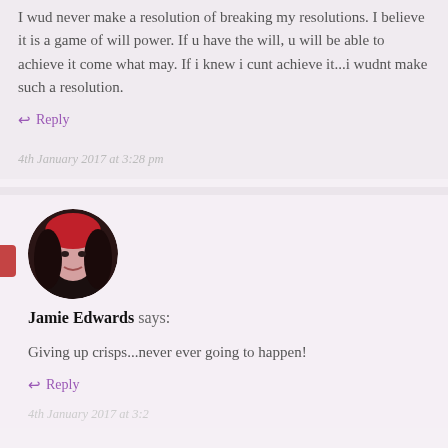I wud never make a resolution of breaking my resolutions. I believe it is a game of will power. If u have the will, u will be able to achieve it come what may. If i knew i cunt achieve it...i wudnt make such a resolution.
↩ Reply
4th January 2017 at 3:28 pm
[Figure (photo): Circular avatar photo of Jamie Edwards, a woman with red and dark hair]
Jamie Edwards says:
Giving up crisps...never ever going to happen!
↩ Reply
4th January 2017 at 3:28 pm (partial)